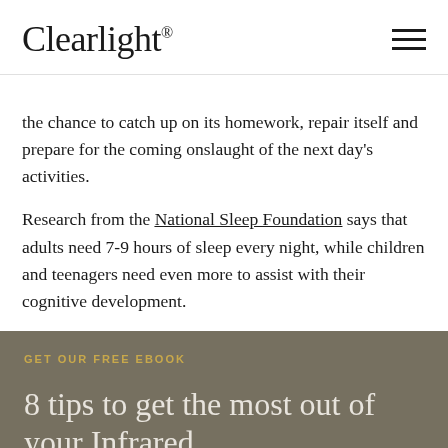Clearlight®
the chance to catch up on its homework, repair itself and prepare for the coming onslaught of the next day's activities.
Research from the National Sleep Foundation says that adults need 7-9 hours of sleep every night, while children and teenagers need even more to assist with their cognitive development.
GET OUR FREE EBOOK
8 tips to get the most out of your Infrared